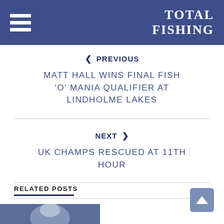TOTAL FISHING
< PREVIOUS
MATT HALL WINS FINAL FISH 'O' MANIA QUALIFIER AT LINDHOLME LAKES
NEXT >
UK CHAMPS RESCUED AT 11TH HOUR
RELATED POSTS
[Figure (photo): Thumbnail image of a person with partial text 'POLIC' visible]